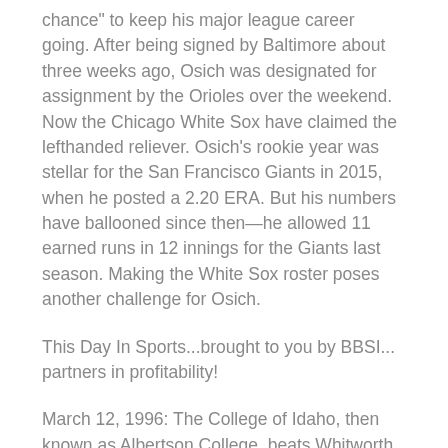chance" to keep his major league career going. After being signed by Baltimore about three weeks ago, Osich was designated for assignment by the Orioles over the weekend. Now the Chicago White Sox have claimed the lefthanded reliever. Osich's rookie year was stellar for the San Francisco Giants in 2015, when he posted a 2.20 ERA. But his numbers have ballooned since then—he allowed 11 earned runs in 12 innings for the Giants last season. Making the White Sox roster poses another challenge for Osich.
This Day In Sports...brought to you by BBSI... partners in profitability!
March 12, 1996: The College of Idaho, then known as Albertson College, beats Whitworth in overtime, 81-72, to win the NAIA Division II national basketball championship at Montgomery Fieldhouse, in Nampa...